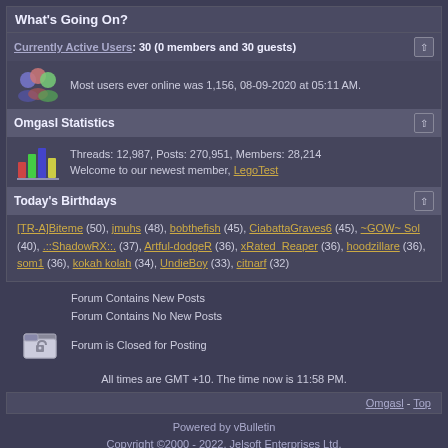What's Going On?
Currently Active Users: 30 (0 members and 30 guests)
Most users ever online was 1,156, 08-09-2020 at 05:11 AM.
Omgasl Statistics
Threads: 12,987, Posts: 270,951, Members: 28,214
Welcome to our newest member, LegoTest
Today's Birthdays
[TR-A]Biteme (50), jmuhs (48), bobthefish (45), CiabattaGraves6 (45), ~GOW~ Sol (40), .::ShadowRX::. (37), Artful-dodgeR (36), xRated_Reaper (36), hoodzillare (36), som1 (36), kokah kolah (34), UndieBoy (33), citnarf (32)
Forum Contains New Posts
Forum Contains No New Posts
Forum is Closed for Posting
All times are GMT +10. The time now is 11:58 PM.
Omgasl - Top
Powered by vBulletin
Copyright ©2000 - 2022, Jelsoft Enterprises Ltd.